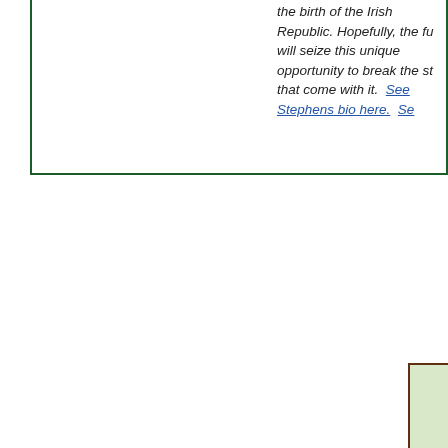the birth of the Irish Republic. Hopefully, the future will seize this unique opportunity to break the st... that come with it.  See Stephens bio here.  Se...
[Figure (other): Partial view of a dark brown bordered box with green background, bottom-right corner of page]